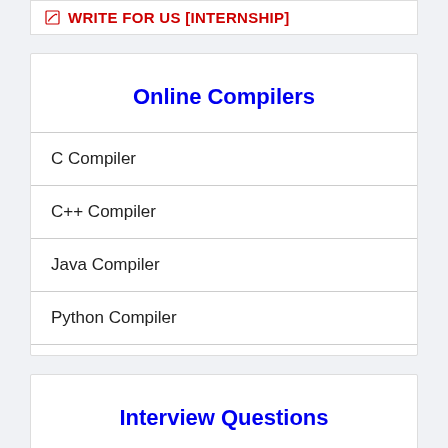✎ WRITE FOR US [INTERNSHIP]
Online Compilers
C Compiler
C++ Compiler
Java Compiler
Python Compiler
Interview Questions
C Interview Questions